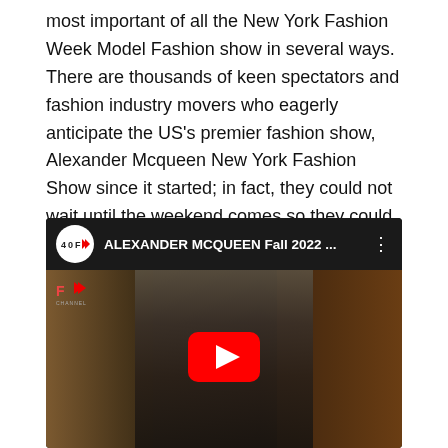most important of all the New York Fashion Week Model Fashion show in several ways. There are thousands of keen spectators and fashion industry movers who eagerly anticipate the US's premier fashion show, Alexander Mcqueen New York Fashion Show since it started; in fact, they could not wait until the weekend comes so they could watch a number of high-profile personalities flocking to witness it live.
[Figure (screenshot): Embedded YouTube video player showing ALEXANDER MCQUEEN Fall 2022 fashion show. The thumbnail shows a model wearing an ornate floral embroidered dress walking the runway. A red YouTube play button is centered on the video. The top bar shows the Fashion Channel logo and video title.]